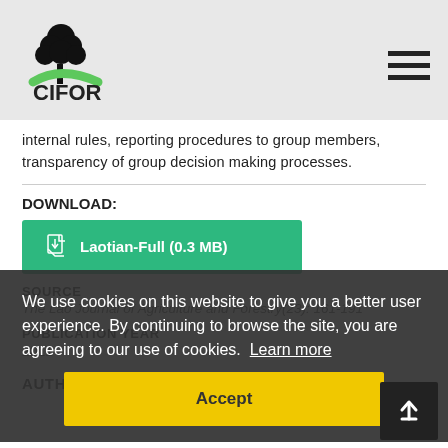CIFOR
internal rules, reporting procedures to group members, transparency of group decision making processes.
DOWNLOAD:
Laotian-Full (0.3 MB)
We use cookies on this website to give you a better user experience. By continuing to browse the site, you are agreeing to our use of cookies. Learn more
SOURCE
The Lao Journal of Agriculture and Forestry(23): 161-191
PUBLICATION YEAR
2011
Accept
AUTHORS